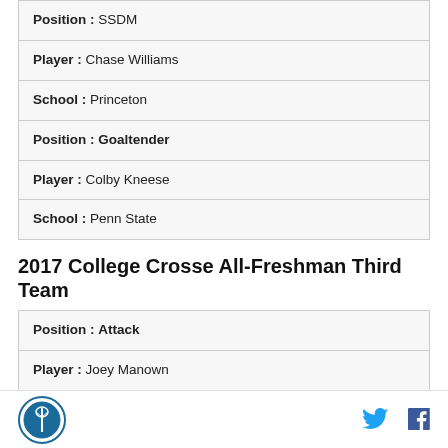| Position : SSDM |
| Player : Chase Williams |
| School : Princeton |
| Position : Goaltender |
| Player : Colby Kneese |
| School : Penn State |
2017 College Crosse All-Freshman Third Team
| Position : Attack |
| Player : Joey Manown |
| School : Duke |
| Position : Attack |